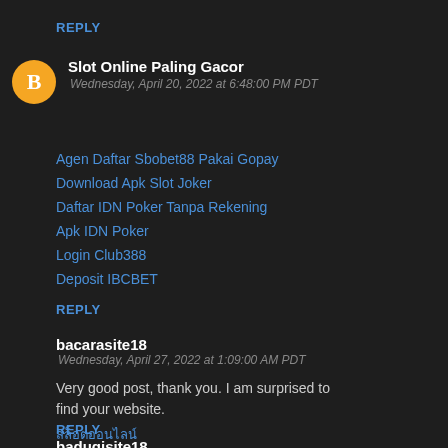REPLY
Slot Online Paling Gacor
Wednesday, April 20, 2022 at 6:48:00 PM PDT
Agen Daftar Sbobet88 Pakai Gopay
Download Apk Slot Joker
Daftar IDN Poker Tanpa Rekening
Apk IDN Poker
Login Club388
Deposit IBCBET
REPLY
bacarasite18
Wednesday, April 27, 2022 at 1:09:00 AM PDT
Very good post, thank you. I am surprised to find your website.
REPLY
baduqisite18